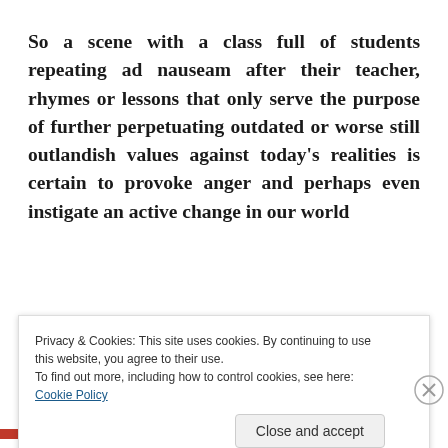So a scene with a class full of students repeating ad nauseam after their teacher, rhymes or lessons that only serve the purpose of further perpetuating outdated or worse still outlandish values against today's realities is certain to provoke anger and perhaps even instigate an active change in our world
Privacy & Cookies: This site uses cookies. By continuing to use this website, you agree to their use.
To find out more, including how to control cookies, see here: Cookie Policy